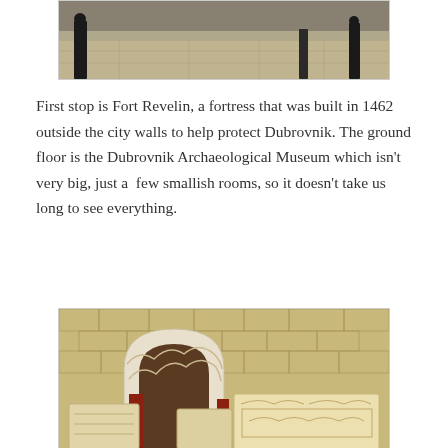[Figure (photo): Top portion of a photo showing people standing on a stone floor, likely inside Fort Revelin or a similar historic building.]
First stop is Fort Revelin, a fortress that was built in 1462 outside the city walls to help protect Dubrovnik. The ground floor is the Dubrovnik Archaeological Museum which isn't very big, just a  few smallish rooms, so it doesn't take us long to see everything.
[Figure (photo): Interior of the Dubrovnik Archaeological Museum at Fort Revelin showing ornately carved stone architectural fragments displayed on red stands, with a decorated arch and stone block walls in the background.]